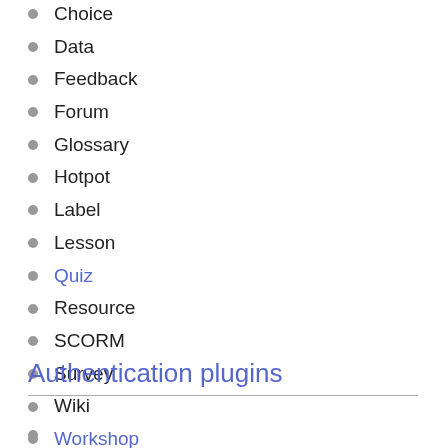Choice
Data
Feedback
Forum
Glossary
Hotpot
Label
Lesson
Quiz
Resource
SCORM
Survey
Wiki
Workshop
Authentication plugins